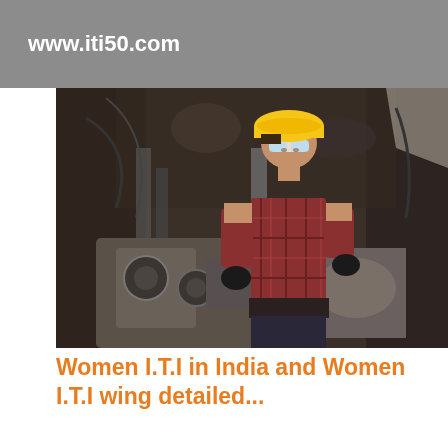www.iti50.com
[Figure (photo): A woman wearing a yellow hard hat and safety glasses working on machinery parts in an industrial setting. She is wearing a plaid shirt and black gloves.]
Women I.T.I in India and Women I.T.I wing detailed...
I.T.I for WOMEN